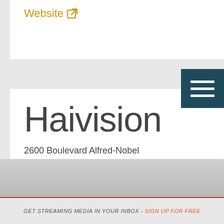Website [external link icon]
[Figure (screenshot): Haivision company card with logo, address, social media icons, phone, fax, and website link]
2600 Boulevard Alfred-Nobel
Montreal Quebec H4S 0A9
Canada
PH: (514) 334-5445 or Toll Free: 1 (877) 224-5445
FAX: 514-334-0088
Website [external link icon]
GET STREAMING MEDIA IN YOUR INBOX - SIGN UP FOR FREE